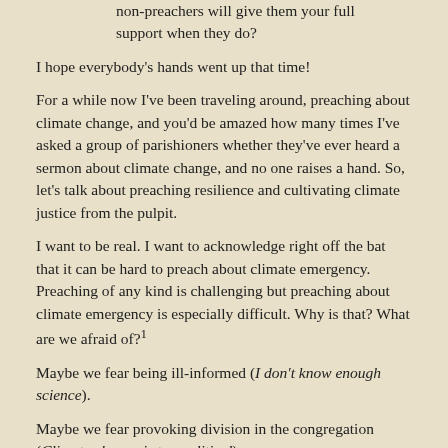non-preachers will give them your full support when they do?
I hope everybody's hands went up that time!
For a while now I've been traveling around, preaching about climate change, and you'd be amazed how many times I've asked a group of parishioners whether they've ever heard a sermon about climate change, and no one raises a hand. So, let's talk about preaching resilience and cultivating climate justice from the pulpit.
I want to be real. I want to acknowledge right off the bat that it can be hard to preach about climate emergency. Preaching of any kind is challenging but preaching about climate emergency is especially difficult. Why is that? What are we afraid of?¹
Maybe we fear being ill-informed (I don't know enough science).
Maybe we fear provoking division in the congregation (Climate change is too political).
Maybe we fear stressing out our listeners (Daily life is hard enough; why add to their worries?).
Maybe we fear our parishioners won't be able to handle the bad news (If I do mention climate change, I'd better tone it down and